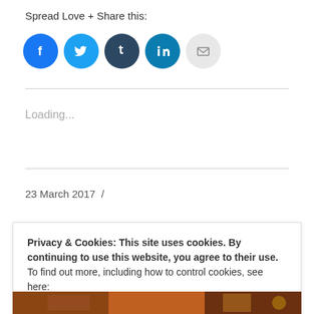Spread Love + Share this:
[Figure (infographic): Five social sharing icon buttons in circles: Facebook (blue), Twitter (light blue), Tumblr (dark blue-grey), LinkedIn (teal-blue), Email (light grey)]
Loading...
23 March 2017  /
Privacy & Cookies: This site uses cookies. By continuing to use this website, you agree to their use.
To find out more, including how to control cookies, see here:
Cookie Policy
Close and accept
[Figure (photo): Partial view of a photo strip at the bottom of the page]